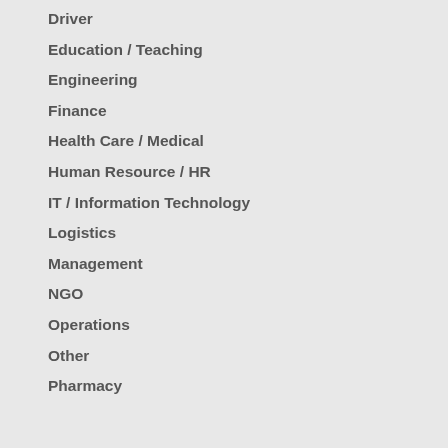Driver
Education / Teaching
Engineering
Finance
Health Care / Medical
Human Resource / HR
IT / Information Technology
Logistics
Management
NGO
Operations
Other
Pharmacy